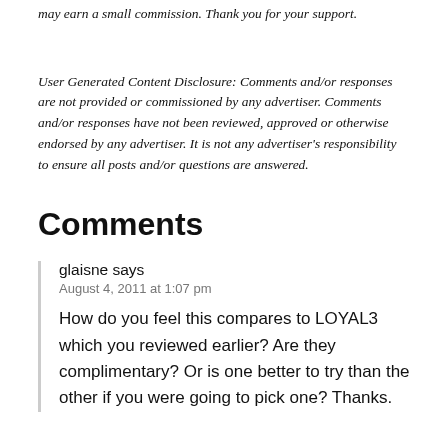may earn a small commission. Thank you for your support.
User Generated Content Disclosure: Comments and/or responses are not provided or commissioned by any advertiser. Comments and/or responses have not been reviewed, approved or otherwise endorsed by any advertiser. It is not any advertiser's responsibility to ensure all posts and/or questions are answered.
Comments
glaisne says
August 4, 2011 at 1:07 pm
How do you feel this compares to LOYAL3 which you reviewed earlier? Are they complimentary? Or is one better to try than the other if you were going to pick one? Thanks.